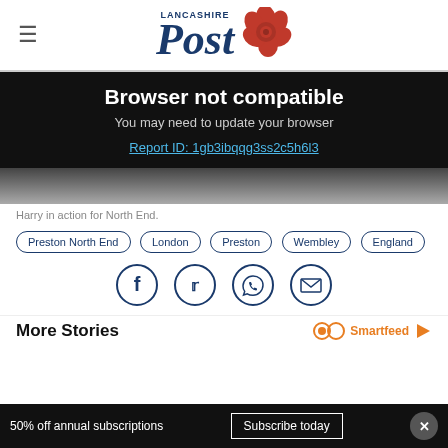[Figure (logo): Lancashire Post logo with red rose icon]
Browser not compatible
You may need to update your browser
Report ID: 1gb3ibqqg3ss2c5h6l3
[Figure (photo): Grainy black and white photo strip]
Harry in action for North End.
Preston North End
London
Preston
Wembley
England
[Figure (infographic): Social share icons: Facebook, Twitter, WhatsApp, Email]
More Stories
Smartfeed
50% off annual subscriptions  Subscribe today